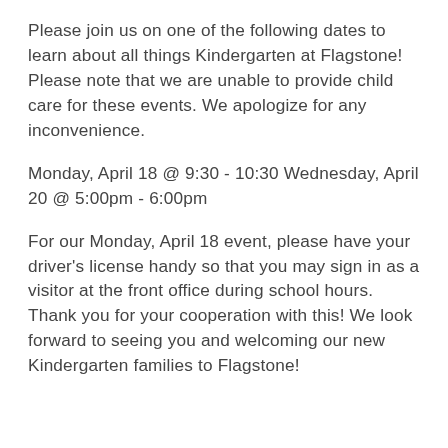Please join us on one of the following dates to learn about all things Kindergarten at Flagstone! Please note that we are unable to provide child care for these events. We apologize for any inconvenience.
Monday, April 18 @ 9:30 - 10:30 Wednesday, April 20 @ 5:00pm - 6:00pm
For our Monday, April 18 event, please have your driver's license handy so that you may sign in as a visitor at the front office during school hours. Thank you for your cooperation with this! We look forward to seeing you and welcoming our new Kindergarten families to Flagstone!